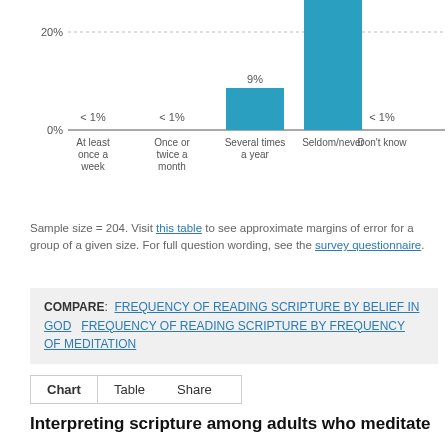[Figure (bar-chart): Frequency of reading scripture (partial)]
Sample size = 204. Visit this table to see approximate margins of error for a group of a given size. For full question wording, see the survey questionnaire.
COMPARE: FREQUENCY OF READING SCRIPTURE BY BELIEF IN GOD  FREQUENCY OF READING SCRIPTURE BY FREQUENCY OF MEDITATION
Chart  Table  Share
Interpreting scripture among adults who meditate